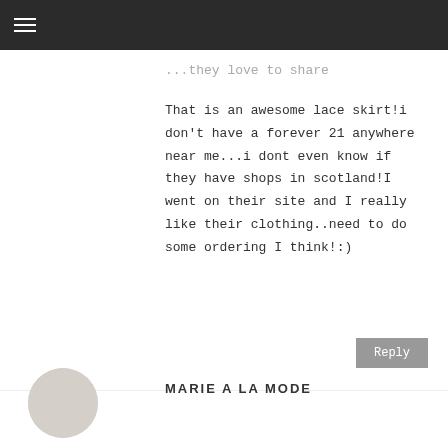≡
...they love to share
That is an awesome lace skirt!i don't have a forever 21 anywhere near me...i dont even know if they have shops in scotland!I went on their site and I really like their clothing..need to do some ordering I think!:)
Reply
MARIE A LA MODE